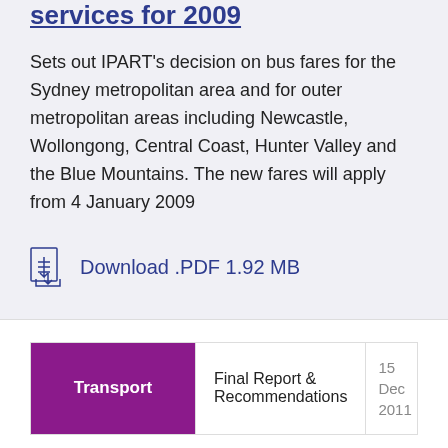services for 2009
Sets out IPART's decision on bus fares for the Sydney metropolitan area and for outer metropolitan areas including Newcastle, Wollongong, Central Coast, Hunter Valley and the Blue Mountains. The new fares will apply from 4 January 2009
Download .PDF 1.92 MB
Transport | Final Report & Recommendations | 15 Dec 2011
Report and